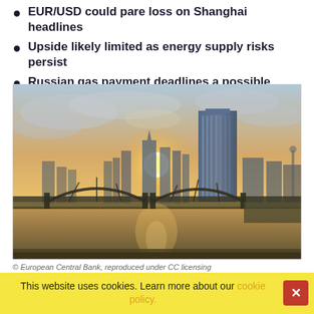EUR/USD could pare loss on Shanghai headlines
Upside likely limited as energy supply risks persist
Russian gas payment deadlines a possible pitfall
[Figure (photo): Sunset cityscape of Frankfurt with the European Central Bank tower and an arched bridge over a river reflecting warm golden light]
© European Central Bank, reproduced under CC licensing
The Euro to Dollar rate slipped to a five year low last week
This website uses cookies. Learn more about our cookie policy.